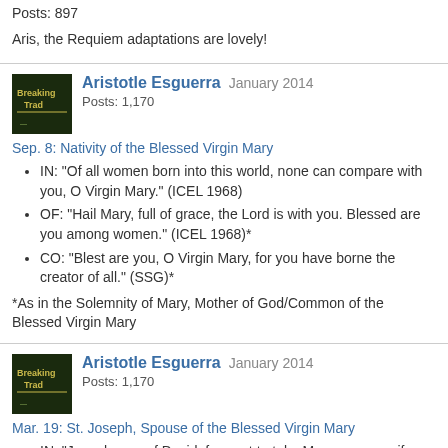Posts: 897
Aris, the Requiem adaptations are lovely!
Aristotle Esguerra   January 2014
Posts: 1,170
Sep. 8: Nativity of the Blessed Virgin Mary
IN: "Of all women born into this world, none can compare with you, O Virgin Mary." (ICEL 1968)
OF: "Hail Mary, full of grace, the Lord is with you. Blessed are you among women." (ICEL 1968)*
CO: "Blest are you, O Virgin Mary, for you have borne the creator of all." (SSG)*
*As in the Solemnity of Mary, Mother of God/Common of the Blessed Virgin Mary
Aristotle Esguerra   January 2014
Posts: 1,170
Mar. 19: St. Joseph, Spouse of the Blessed Virgin Mary
IN: "Joseph, son of David, fear not to take Mary as your wife. She